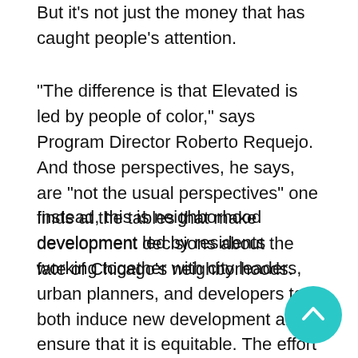But it's not just the money that has caught people's attention.
“The difference is that Elevated is led by people of color,” says Program Director Roberto Requejo.  And those perspectives, he says, are “not the usual perspectives” one finds at the tables that make development decisions about the fate of Chicago’s neighborhoods.
Instead, this is neighborhood development led by residents working together with city leaders, urban planners, and developers to both induce new development and ensure that it is equitable. The effort is intentional about connecting leaders and experts across fields, including public health, affordable housing, transit, arts and culture, and climate change.
[Figure (other): Teal circular scroll-to-top button with upward chevron arrow icon, positioned in the bottom-right corner of the page.]